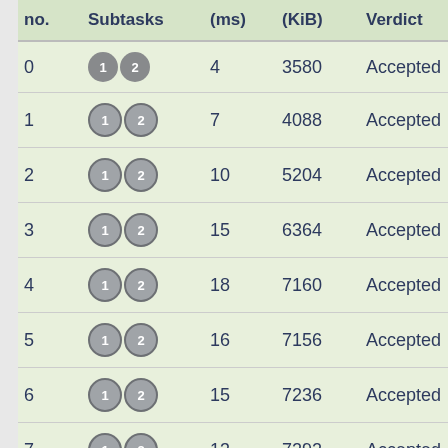| no. | Subtasks | (ms) | (KiB) | Verdict | S |
| --- | --- | --- | --- | --- | --- |
| 0 | 1 2 | 4 | 3580 | Accepted | 10 |
| 1 | 1 2 | 7 | 4088 | Accepted | 10 |
| 2 | 1 2 | 10 | 5204 | Accepted | 10 |
| 3 | 1 2 | 15 | 6364 | Accepted | 10 |
| 4 | 1 2 | 18 | 7160 | Accepted | 10 |
| 5 | 1 2 | 16 | 7156 | Accepted | 10 |
| 6 | 1 2 | 15 | 7236 | Accepted | 10 |
| 7 | 1 2 | 13 | 7292 | Accepted | 10 |
| 8 | 2 | 6 | 3440 | Accepted | 10 |
| 9 | 2 | 8 | 4552 | Accepted | 10 |
| 10 | 2 | 9 | 5196 | Accepted | 10 |
| 11 | 2 | 10 | 6432 | Accepted | 10 |